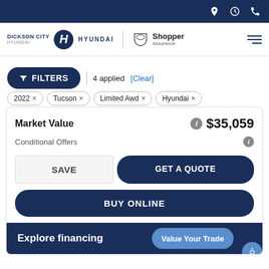Dickson City Hyundai | Shopper Assurance - navigation bar with location, hours, phone icons
[Figure (logo): Dickson City Hyundai logo and Shopper Assurance badge with hamburger menu]
FILTERS 4 applied [Clear]
2022 ×
Tucson ×
Limited Awd ×
Hyundai ×
Market Value $35,059
Conditional Offers
SAVE
GET A QUOTE
BUY ONLINE
Explore financing
Value Your Trade